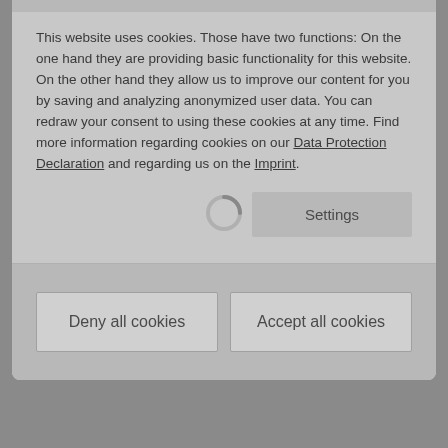This website uses cookies. Those have two functions: On the one hand they are providing basic functionality for this website. On the other hand they allow us to improve our content for you by saving and analyzing anonymized user data. You can redraw your consent to using these cookies at any time. Find more information regarding cookies on our Data Protection Declaration and regarding us on the Imprint.
[Figure (screenshot): Settings button with loading spinner on the left]
[Figure (screenshot): Two buttons: Deny all cookies and Accept all cookies]